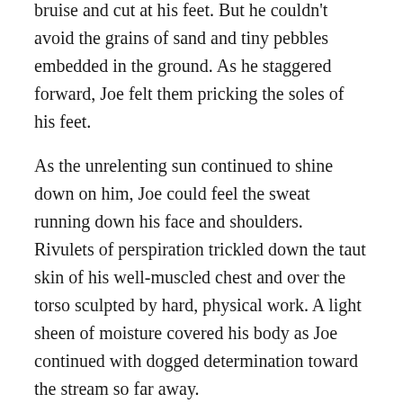bruise and cut at his feet. But he couldn't avoid the grains of sand and tiny pebbles embedded in the ground. As he staggered forward, Joe felt them pricking the soles of his feet.
As the unrelenting sun continued to shine down on him, Joe could feel the sweat running down his face and shoulders. Rivulets of perspiration trickled down the taut skin of his well-muscled chest and over the torso sculpted by hard, physical work. A light sheen of moisture covered his body as Joe continued with dogged determination toward the stream so far away.
With feet that were becoming increasingly sore, a head that throbbed with pain, and a body that was both dripping with sweat and desperate for water, Joe forced